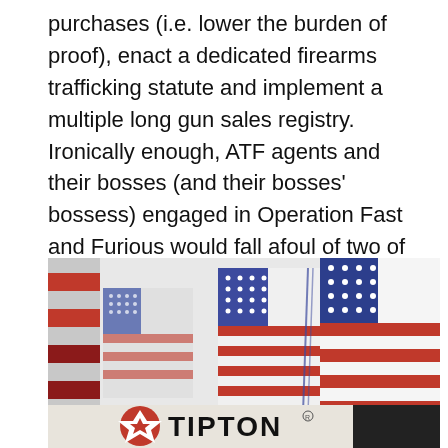purchases (i.e. lower the burden of proof), enact a dedicated firearms trafficking statute and implement a multiple long gun sales registry. Ironically enough, ATF agents and their bosses (and their bosses' bossess) engaged in Operation Fast and Furious would fall afoul of two of these recommendations . . .
[Figure (photo): A row of small American flags displayed on white sticks, with red, white, and blue colors visible. A Tipton logo (circular red emblem with white pentagon shape and the word TIPTON in bold black text) is overlaid at the bottom of the image on a light beige/gray banner.]